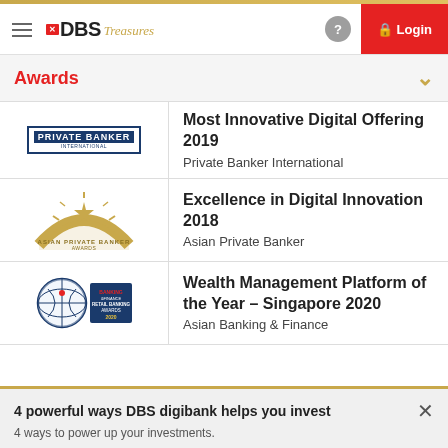DBS Treasures | Login
Awards
[Figure (logo): Private Banker International logo]
Most Innovative Digital Offering 2019
Private Banker International
[Figure (logo): Asian Private Banker Awards logo - gold semicircle with star]
Excellence in Digital Innovation 2018
Asian Private Banker
[Figure (logo): Banking & Finance Retail Banking Awards 2020 logo]
Wealth Management Platform of the Year – Singapore 2020
Asian Banking & Finance
4 powerful ways DBS digibank helps you invest
4 ways to power up your investments.